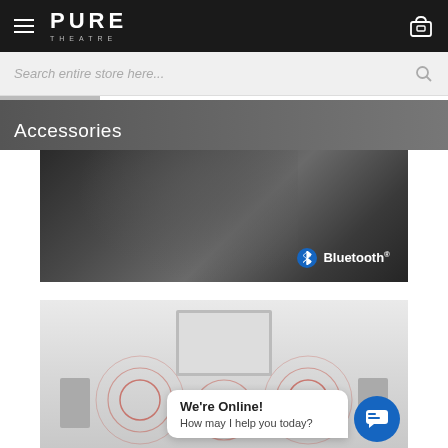Pure Theatre — navigation header with hamburger menu and cart icon
Search entire store here...
Accessories
[Figure (photo): Dark banner image showing a person with Bluetooth logo overlay]
[Figure (photo): Home theatre system with speakers and TV on white background, with We're Online chat widget overlay]
We're Online! How may I help you today?